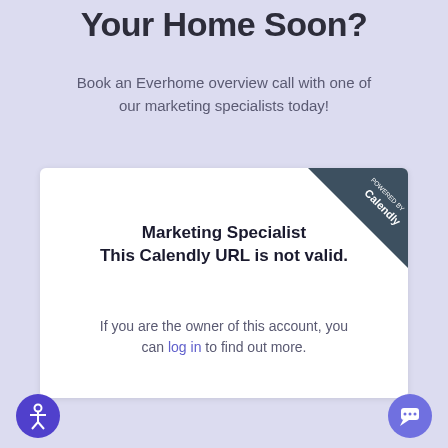Your Home Soon?
Book an Everhome overview call with one of our marketing specialists today!
[Figure (screenshot): Calendly embedded widget showing error: Marketing Specialist This Calendly URL is not valid. If you are the owner of this account, you can log in to find out more. Powered by Calendly badge in top-right corner.]
[Figure (other): Accessibility icon button (person in circle)]
[Figure (other): Chat bubble button with ellipsis]